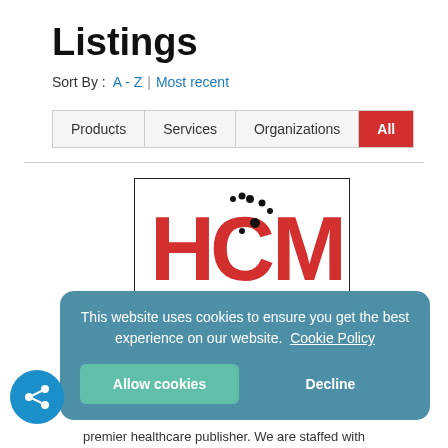Listings
Sort By :  A - Z | Most recent
Products | Services | Organizations | All
[Figure (logo): HCM logo in red letters with stylized circular dots above the C, enclosed in a black-bordered rectangle]
This website uses cookies to ensure you get the best experience on our website. Cookie Policy
Allow cookies
Decline
premier healthcare publisher. We are staffed with